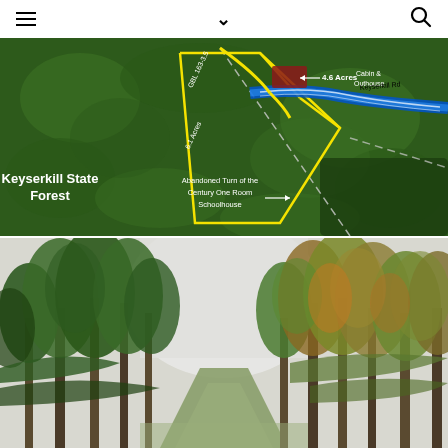Navigation header with hamburger menu, chevron/dropdown, and search icon
[Figure (map): Aerial/satellite map showing Keyserkill State Forest with annotated property boundaries in yellow, Keyserkill Road in blue, a 4.6 Acres parcel marked with Cabin & Outhouse, GBL 163-3.5 label, 6.1 Acres label, an abandoned turn-of-the-century one room schoolhouse marked, and Keyserkill State Forest labeled in white text at two locations.]
[Figure (photo): Ground-level photograph of a wooded dirt road/trail flanked by tall deciduous and coniferous trees with overcast sky visible through the canopy, autumn foliage beginning to show.]